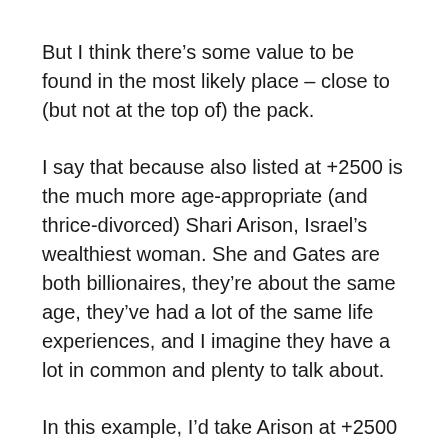But I think there’s some value to be found in the most likely place – close to (but not at the top of) the pack.
I say that because also listed at +2500 is the much more age-appropriate (and thrice-divorced) Shari Arison, Israel’s wealthiest woman. She and Gates are both billionaires, they’re about the same age, they’ve had a lot of the same life experiences, and I imagine they have a lot in common and plenty to talk about.
In this example, I’d take Arison at +2500 mostly because I think she has a much better chance than Thunberg, who’s getting the same line.